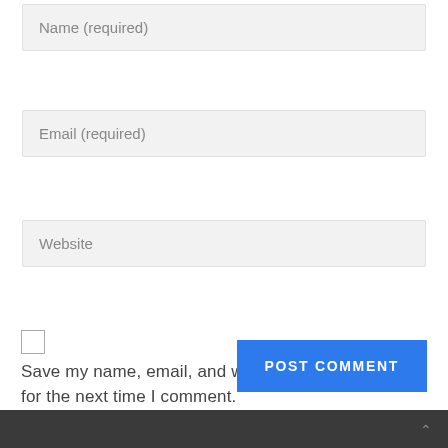Name (required)
Email (required)
Website
Save my name, email, and website in this browser for the next time I comment.
POST COMMENT